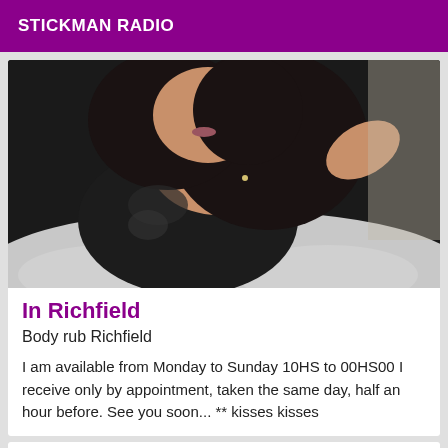STICKMAN RADIO
[Figure (photo): Woman with dark hair in black outfit lying on white cushioned surface]
In Richfield
Body rub Richfield
I am available from Monday to Sunday 10HS to 00HS00 I receive only by appointment, taken the same day, half an hour before. See you soon... ** kisses kisses
Online